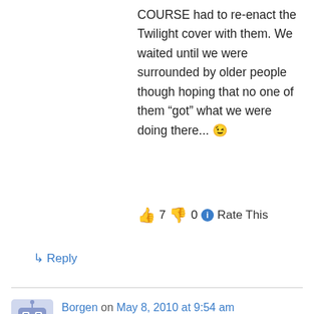COURSE had to re-enact the Twilight cover with them. We waited until we were surrounded by older people though hoping that no one of them “got” what we were doing there... 😉
👍 7  👎 0  ⓘ Rate This
↳ Reply
Borgen on May 8, 2010 at 9:54 am
Yeh, you can’t escape twilight, it’s everywhere :O

I were riding my bike, following a trail in the forest.
2 miles or so later in the middle of the forest the trail ends up in a meadow. Of course my mind goes to twilight. In the middle of the meadow I